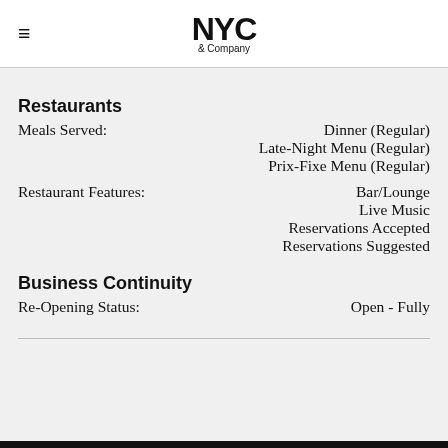NYC & Company
Restaurants
Meals Served: Dinner (Regular)
Late-Night Menu (Regular)
Prix-Fixe Menu (Regular)
Restaurant Features: Bar/Lounge
Live Music
Reservations Accepted
Reservations Suggested
Business Continuity
Re-Opening Status: Open - Fully